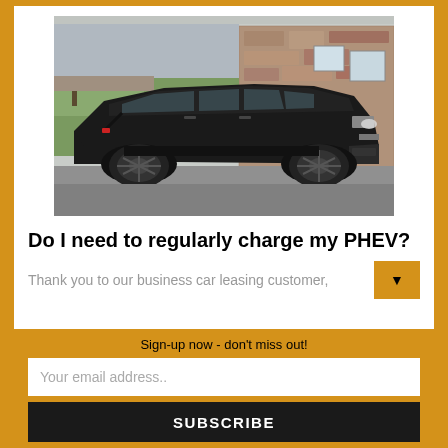[Figure (photo): Black Volvo XC40 SUV parked in front of a stone and brick building, viewed from the side]
Do I need to regularly charge my PHEV?
Thank you to our business car leasing customer,
Sign-up now - don't miss out!
Your email address..
SUBSCRIBE